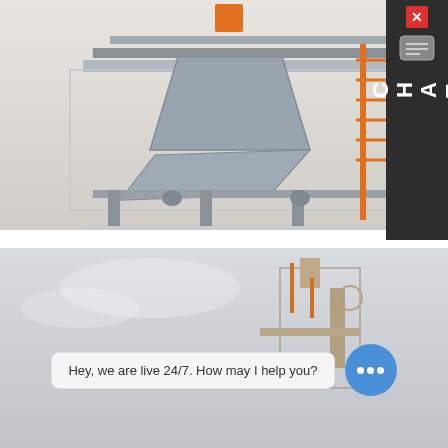[Figure (photo): Industrial concrete mixer / batching plant machinery on elevated platform with orange railings and stairs, grey background]
[Figure (screenshot): Chat sidebar widget with dark background showing chat icon and letters C H A T vertically, with red close button]
Concrete Mixer Links,China Concrete Mixer Links,Concrete
Contact Us. Address:Industrial Equipment Zone,Zhengshang Road Zhengzhou Henan Zip: 450000 China Fax:+86-371-63935058 E-mail: sales@unique-cons.com TEL:+86-371-63699132
Learn More
[Figure (photo): Industrial equipment / machinery photo at bottom of page with chat bubble overlay saying 'Hey, we are live 24/7. How may I help you?' and blue chat circle with three dots]